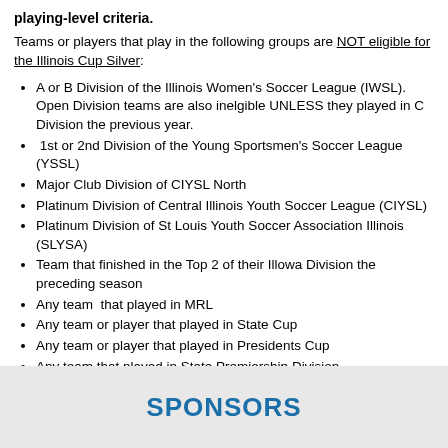playing-level criteria.
Teams or players that play in the following groups are NOT eligible for the Illinois Cup Silver:
A or B Division of the Illinois Women's Soccer League (IWSL). Open Division teams are also inelgible UNLESS they played in C Division the previous year.
1st or 2nd Division of the Young Sportsmen's Soccer League (YSSL)
Major Club Division of CIYSL North
Platinum Division of Central Illinois Youth Soccer League (CIYSL)
Platinum Division of St Louis Youth Soccer Association Illinois (SLYSA)
Team that finished in the Top 2 of their Illowa Division the preceding season
Any team that played in MRL
Any team or player that played in State Cup
Any team or player that played in Presidents Cup
Any team that played in State Premiership Division
ANY member team including tournament only teams are eligible for the Illinois Cup Gold
SPONSORS